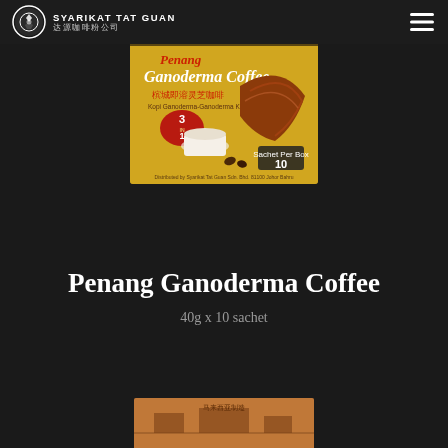SYARIKAT TAT GUAN 达源咖啡粉公司
[Figure (photo): Product box of Penang Ganoderma Coffee 3-in-1, yellow box with ganoderma mushroom and coffee cup imagery, 10 sachets]
Penang Ganoderma Coffee
40g x 10 sachet
[Figure (photo): Partial view of another product at the bottom of the page]